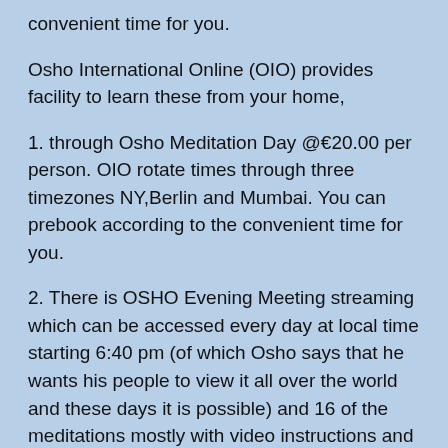convenient time for you.
Osho International Online (OIO) provides facility to learn these from your home,
1. through Osho Meditation Day @€20.00 per person. OIO rotate times through three timezones NY,Berlin and Mumbai. You can prebook according to the convenient time for you.
2. There is OSHO Evening Meeting streaming which can be accessed every day at local time starting 6:40 pm (of which Osho says that he wants his people to view it all over the world and these days it is possible) and 16 of the meditations mostly with video instructions and so much more on OSHO.com/meditate.
3. There is a 7-day Free Trial...